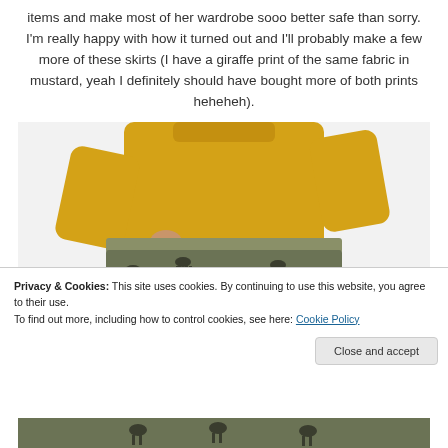items and make most of her wardrobe sooo better safe than sorry. I'm really happy with how it turned out and I'll probably make a few more of these skirts (I have a giraffe print of the same fabric in mustard, yeah I definitely should have bought more of both prints heheheh).
[Figure (photo): Person wearing a mustard/yellow long-sleeve sweater and an olive green skirt with horse print pattern, photographed from torso down against a white/light background.]
Privacy & Cookies: This site uses cookies. By continuing to use this website, you agree to their use.
To find out more, including how to control cookies, see here: Cookie Policy
Close and accept